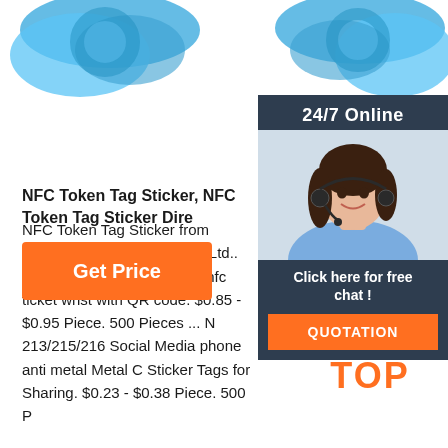[Figure (photo): Blue accessories/hair ties at the top of the page, white background]
[Figure (infographic): 24/7 Online chat widget with woman wearing headset, 'Click here for free chat!' text, and orange QUOTATION button]
NFC Token Tag Sticker, NFC Token Tag Sticker Dire
NFC Token Tag Sticker from Shenzhen Zhonghuanl Co., Ltd.. ... professional rfid bracelet nfc ticket wrist with QR code. $0.85 - $0.95 Piece. 500 Pieces ... N 213/215/216 Social Media phone anti metal Metal C Sticker Tags for Sharing. $0.23 - $0.38 Piece. 500 P
[Figure (other): Orange 'Get Price' button]
[Figure (logo): Orange TOP logo with dots arranged in a triangle above the word TOP]